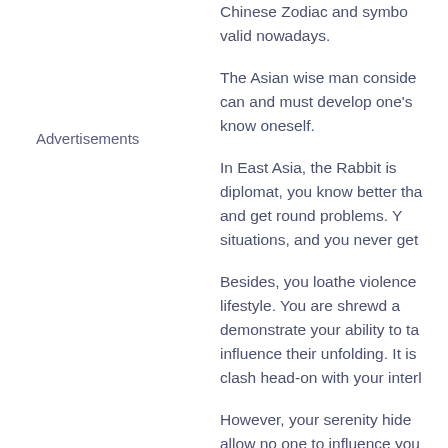Chinese Zodiac and symbol... valid nowadays.
Advertisements
The Asian wise man conside... can and must develop one's... know oneself.
In East Asia, the Rabbit is... diplomat, you know better tha... and get round problems. Y... situations, and you never get...
Besides, you loathe violence... lifestyle. You are shrewd a... demonstrate your ability to ta... influence their unfolding. It is... clash head-on with your interl...
However, your serenity hide... allow no one to influence you... your privacy. Although you eli... wisdom, you carefully avoid a...